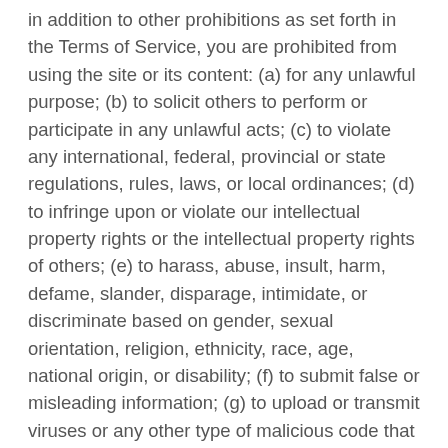in addition to other prohibitions as set forth in the Terms of Service, you are prohibited from using the site or its content: (a) for any unlawful purpose; (b) to solicit others to perform or participate in any unlawful acts; (c) to violate any international, federal, provincial or state regulations, rules, laws, or local ordinances; (d) to infringe upon or violate our intellectual property rights or the intellectual property rights of others; (e) to harass, abuse, insult, harm, defame, slander, disparage, intimidate, or discriminate based on gender, sexual orientation, religion, ethnicity, race, age, national origin, or disability; (f) to submit false or misleading information; (g) to upload or transmit viruses or any other type of malicious code that will or may be used in any way that will affect the functionality or operation of the Service or of any related website, other websites, or the Internet; (h) to collect or track the personal information of others; (i) to spam, phish, pharm, pretext, spider, crawl, or scrape; (j) for any obscene or immoral purpose; or (k) to interfere with or circumvent the security features of the Service...